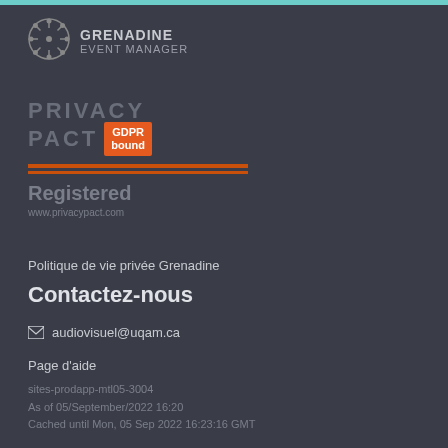[Figure (logo): Grenadine Event Manager logo with gear/wheel icon and text GRENADINE EVENT MANAGER]
[Figure (logo): Privacy Pact GDPR bound Registered badge with orange lines and url www.privacypact.com]
Politique de vie privée Grenadine
Contactez-nous
audiovisuel@uqam.ca
Page d'aide
sites-prodapp-mtl05-3004
As of 05/September/2022 16:20
Cached until Mon, 05 Sep 2022 16:23:16 GMT